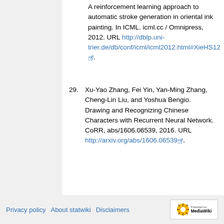A reinforcement learning approach to automatic stroke generation in oriental ink painting. In ICML. icml.cc / Omnipress, 2012. URL http://dblp.uni-trier.de/db/conf/icml/icml2012.html#XieHS12.
29. Xu-Yao Zhang, Fei Yin, Yan-Ming Zhang, Cheng-Lin Liu, and Yoshua Bengio. Drawing and Recognizing Chinese Characters with Recurrent Neural Network. CoRR, abs/1606.06539, 2016. URL http://arxiv.org/abs/1606.06539.
Privacy policy | About statwiki | Disclaimers